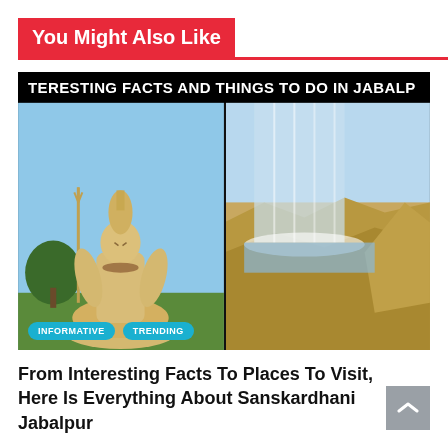You Might Also Like
[Figure (photo): Composite image with dark banner text reading 'TERESTING FACTS AND THINGS TO DO IN JABALP' (truncated), left half showing a large Shiva statue against blue sky and green trees, right half showing a waterfall over rocky terrain. Two cyan badge labels: INFORMATIVE and TRENDING.]
From Interesting Facts To Places To Visit, Here Is Everything About Sanskardhani Jabalpur